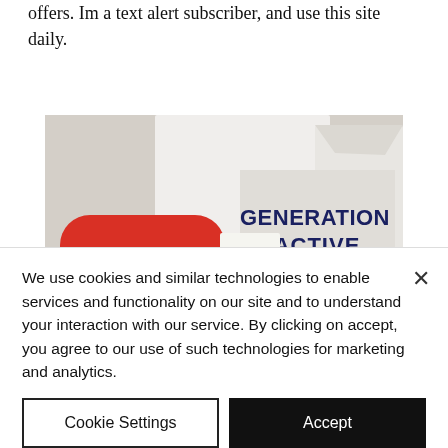offers. Im a text alert subscriber, and use this site daily.
[Figure (photo): A photo showing a 'Generation Active Swag' branded box with a Modern Table pasta product package in front. The box reads GENERATION ACTIVE Swag powered by Sampler.]
We use cookies and similar technologies to enable services and functionality on our site and to understand your interaction with our service. By clicking on accept, you agree to our use of such technologies for marketing and analytics.
Cookie Settings
Accept